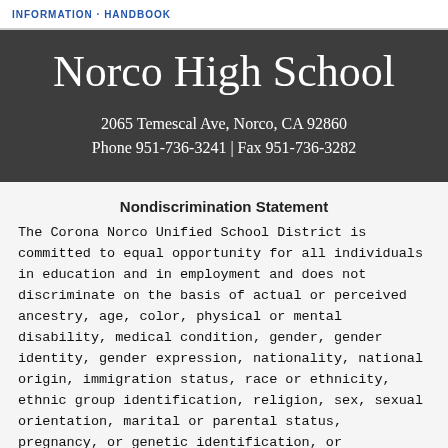INFORMATION · HANDBOOK
Norco High School
2065 Temescal Ave, Norco, CA 92860
Phone 951-736-3241 | Fax 951-736-3282
Nondiscrimination Statement
The Corona Norco Unified School District is committed to equal opportunity for all individuals in education and in employment and does not discriminate on the basis of actual or perceived ancestry, age, color, physical or mental disability, medical condition, gender, gender identity, gender expression, nationality, national origin, immigration status, race or ethnicity, ethnic group identification, religion, sex, sexual orientation, marital or parental status, pregnancy, or genetic identification, or association with a person or group with one or more of these actual or perceived characteristics. The Board prohibits, at any district school or school activity, unlawful discrimination, harassment